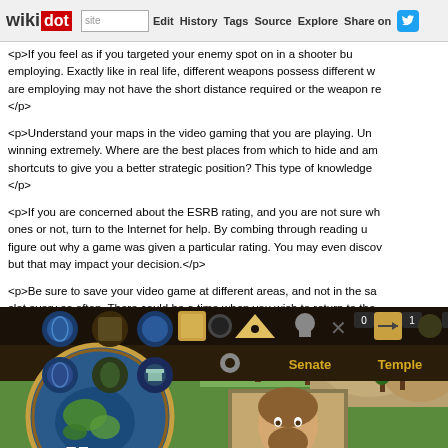wikidot | site | Edit | History | Tags | Source | Explore | Share on Twitter
<p>If you feel as if you targeted your enemy spot on in a shooter but employing. Exactly like in real life, different weapons possess different w are employing may not have the short distance required or the weapon re </p>
<p>Understand your maps in the video gaming that you are playing. Un winning extremely. Where are the best places from which to hide and am shortcuts to give you a better strategic position? This type of knowledge </p>
<p>If you are concerned about the ESRB rating, and you are not sure wh ones or not, turn to the Internet for help. By combing through reading u figure out why a game was given a particular rating. You may even discov but that may impact your decision.</p>
<p>Be sure to save your video game at different areas, and not in the sa slot every so often. There could be a time when you wish to return to the will be unable to do so if your games have all been saved in one place.</p>
[Figure (screenshot): Screenshot of a strategy video game (appears to be a Roman/ancient civilization game) showing a map view with the number 55, resource counters showing 535 and 529, UI buttons, Senate and Temple labels in gold text, and a character portrait.]